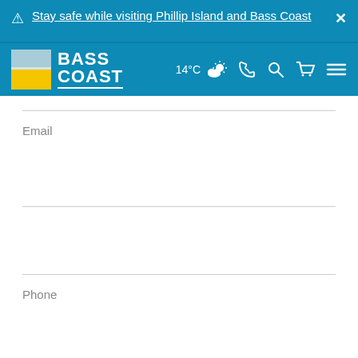Stay safe while visiting Phillip Island and Bass Coast
[Figure (logo): Bass Coast council logo with blue and yellow squares and white text 'BASS COAST']
14°C (partly cloudy weather icon)
Email
Phone
Your Message – Please include dates and all other relevant information